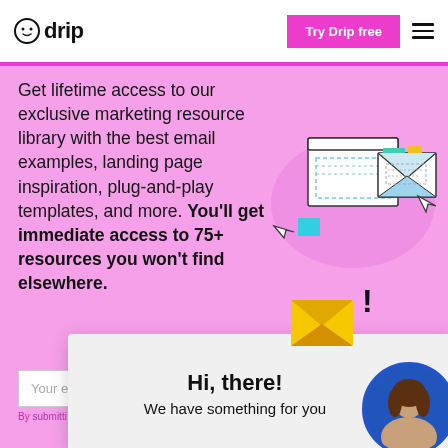Drip – Try Drip free
Get lifetime access to our exclusive marketing resource library with the best email examples, landing page inspiration, plug-and-play templates, and more. You'll get immediate access to 75+ resources you won't find elsewhere.
[Figure (illustration): Illustration of email and landing page browser windows with envelopes, showing digital marketing resources]
Your email
By submitti
[Figure (infographic): Chat popup widget showing Hi, there! We have something for you, with a yellow envelope with exclamation mark and a circular avatar photo of a woman]